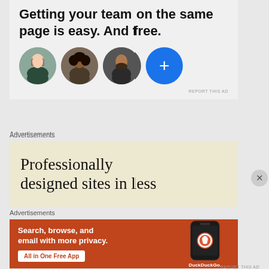[Figure (infographic): Advertisement: 'Getting your team on the same page is easy. And free.' with three circular profile photos and a blue plus button]
REPORT THIS AD
Advertisements
[Figure (infographic): Advertisement: 'Professionally designed sites in less' on a beige/tan background]
Advertisements
[Figure (infographic): DuckDuckGo advertisement: 'Search, browse, and email with more privacy. All in One Free App' on orange background with phone mockup]